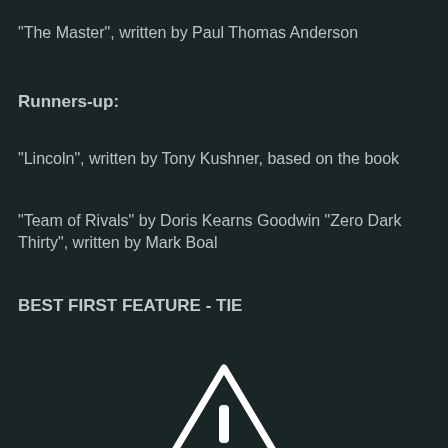"The Master", written by Paul Thomas Anderson
Runners-up:
"Lincoln", written by Tony Kushner, based on the book
"Team of Rivals" by Doris Kearns Goodwin "Zero Dark Thirty", written by Mark Boal
BEST FIRST FEATURE - TIE
[Figure (illustration): Warning triangle icon with exclamation mark, white outline on dark background]